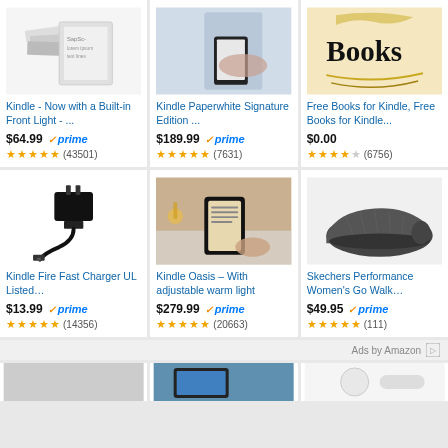[Figure (screenshot): Amazon product listing grid showing 6 products: Kindle, Kindle Paperwhite Signature Edition, Free Books for Kindle, Kindle Fire Fast Charger, Kindle Oasis, Skechers Performance Women's Go Walk]
Kindle - Now with a Built-in Front Light - ... $64.99 prime ★★★★★ (43501)
Kindle Paperwhite Signature Edition ... $189.99 prime ★★★★★ (7631)
Free Books for Kindle, Free Books for Kindle... $0.00 ★★★★ (6756)
Kindle Fire Fast Charger UL Listed... $13.99 prime ★★★★ (14356)
Kindle Oasis – With adjustable warm light $279.99 prime ★★★★ (20663)
Skechers Performance Women's Go Walk... $49.95 prime ★★★★ (111)
Ads by Amazon